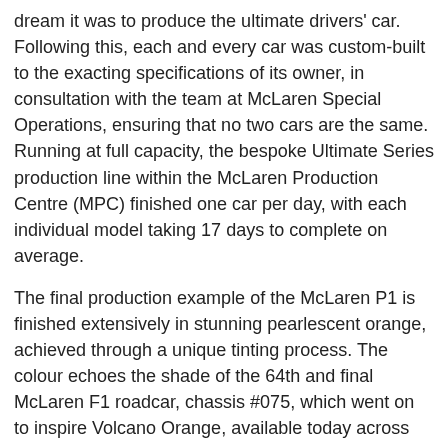dream it was to produce the ultimate drivers' car. Following this, each and every car was custom-built to the exacting specifications of its owner, in consultation with the team at McLaren Special Operations, ensuring that no two cars are the same. Running at full capacity, the bespoke Ultimate Series production line within the McLaren Production Centre (MPC) finished one car per day, with each individual model taking 17 days to complete on average.
The final production example of the McLaren P1 is finished extensively in stunning pearlescent orange, achieved through a unique tinting process. The colour echoes the shade of the 64th and final McLaren F1 roadcar, chassis #075, which went on to inspire Volcano Orange, available today across the McLaren Automotive range. It features subtle styling elements in raw carbon fibre weave, with the finish only visible externally on the splitter, diffuser and the aerodynamic blades along the lower body, while the super-lightweight wheels are finished in silver.
The McLaren P1 introduced a number of new technologies to the supercar world, using techniques and developments from the world of motorsport to enhance performance. Through the pioneering use of weight-saving technologies and materials, including the extensive application of carbon fibre, the McLaren P1™ has a dry weight of just